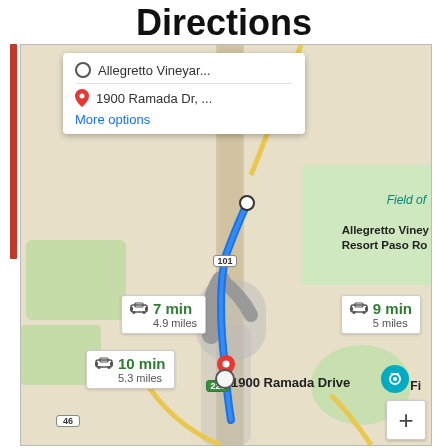Directions
[Figure (map): Google Maps navigation screenshot showing driving directions from Allegretto Vineyard Resort Paso Ro[bles] to 1900 Ramada Drive. Three route options shown: 7 min / 4.9 miles, 9 min / 5 miles, and 10 min / 5.3 miles. Blue highlighted route runs along Highway 101 southward. Route 101 and 228 badges visible. Start and end pins marked.]
Allegretto Vineyar... | 1900 Ramada Dr, ...
More options
Field of
Allegretto Viney Resort Paso Ro
7 min
4.9 miles
9 min
5 miles
10 min
5.3 miles
1900 Ramada Drive